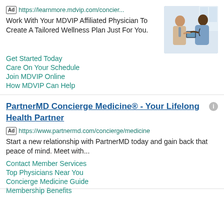Ad https://learnmore.mdvip.com/concier...
Work With Your MDVIP Affiliated Physician To Create A Tailored Wellness Plan Just For You.
[Figure (photo): A doctor in a white coat consulting with a patient, showing something on a tablet or device.]
Get Started Today
Care On Your Schedule
Join MDVIP Online
How MDVIP Can Help
PartnerMD Concierge Medicine® - Your Lifelong Health Partner
Ad https://www.partnermd.com/concierge/medicine
Start a new relationship with PartnerMD today and gain back that peace of mind. Meet with...
Contact Member Services
Top Physicians Near You
Concierge Medicine Guide
Membership Benefits